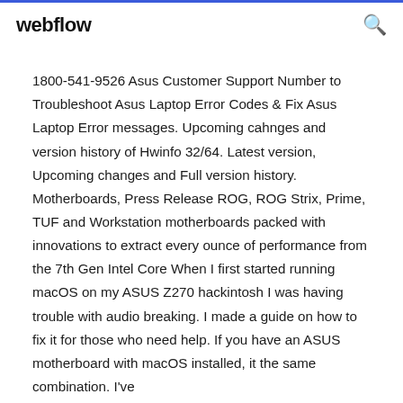webflow
1800-541-9526 Asus Customer Support Number to Troubleshoot Asus Laptop Error Codes & Fix Asus Laptop Error messages. Upcoming cahnges and version history of Hwinfo 32/64. Latest version, Upcoming changes and Full version history. Motherboards, Press Release ROG, ROG Strix, Prime, TUF and Workstation motherboards packed with innovations to extract every ounce of performance from the 7th Gen Intel Core When I first started running macOS on my ASUS Z270 hackintosh I was having trouble with audio breaking. I made a guide on how to fix it for those who need help. If you have an ASUS motherboard with macOS installed, it the same combination. I've ...